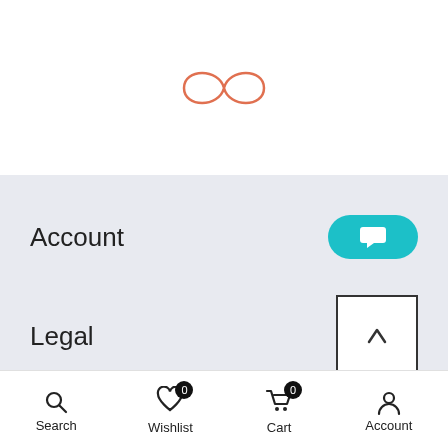[Figure (logo): Infinity loop / figure-eight logo outline in salmon/orange color]
Account
Legal
[Figure (infographic): Quantity selector with minus, 1, plus buttons and orange cart button]
Search  Wishlist 0  Cart 0  Account